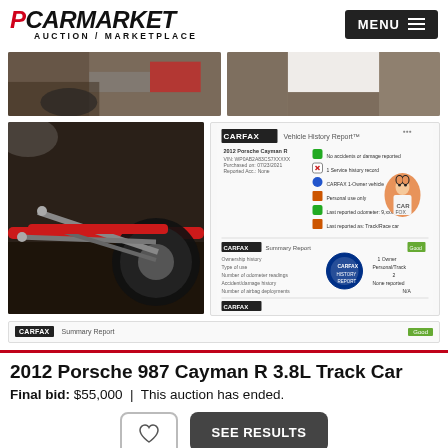[Figure (logo): PCarMarket logo with red P and black CARMARKET text, AUCTION / MARKETPLACE subtitle]
[Figure (screenshot): MENU button with hamburger icon, dark background]
[Figure (photo): Two thumbnail photos of a car/garage interior]
[Figure (photo): Close-up photo of car suspension/drivetrain components, red bar visible]
[Figure (screenshot): Carfax Vehicle History Report screenshot]
[Figure (screenshot): Carfax report strip at bottom]
2012 Porsche 987 Cayman R 3.8L Track Car
Final bid: $55,000  |  This auction has ended.
SEE RESULTS